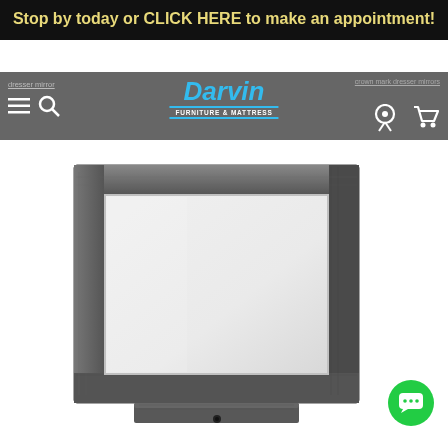Stop by today or CLICK HERE to make an appointment!
[Figure (screenshot): Darvin Furniture & Mattress website navigation bar with logo, hamburger menu, search icon, location pin icon, and cart icon on a grey background. A breadcrumb shows 'dresser mirror' with underline.]
[Figure (photo): A rectangular dresser mirror with a dark grey/charcoal wood grain frame displayed against a white background. The mirror has a wide, flat frame and is shown with a small base/stand at the bottom.]